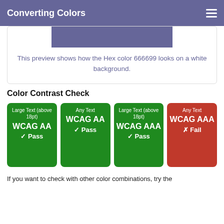Converting Colors
[Figure (other): Color preview bar showing hex color 666699 on white background]
This preview shows how the Hex color 666699 looks on a white background.
Color Contrast Check
| Large Text (above 18pt) WCAG AA ✓ Pass | Any Text WCAG AA ✓ Pass | Large Text (above 18pt) WCAG AAA ✓ Pass | Any Text WCAG AAA ✗ Fail |
| --- | --- | --- | --- |
If you want to check with other color combinations, try the